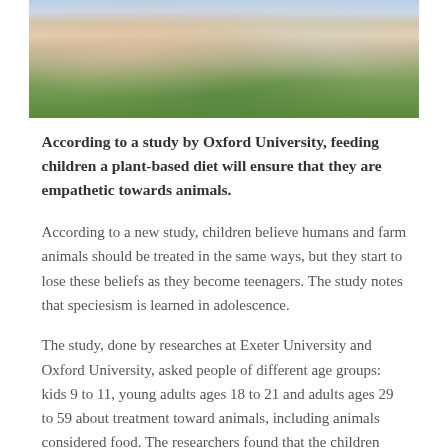[Figure (photo): A child sitting on grass with an animal, wearing a blue striped outfit, photographed from above showing legs and hands]
According to a study by Oxford University, feeding children a plant-based diet will ensure that they are empathetic towards animals.
According to a new study, children believe humans and farm animals should be treated in the same ways, but they start to lose these beliefs as they become teenagers. The study notes that speciesism is learned in adolescence.
The study, done by researches at Exeter University and Oxford University, asked people of different age groups: kids 9 to 11, young adults ages 18 to 21 and adults ages 29 to 59 about treatment toward animals, including animals considered food. The researchers found that the children showed less speciesism overall compared to the